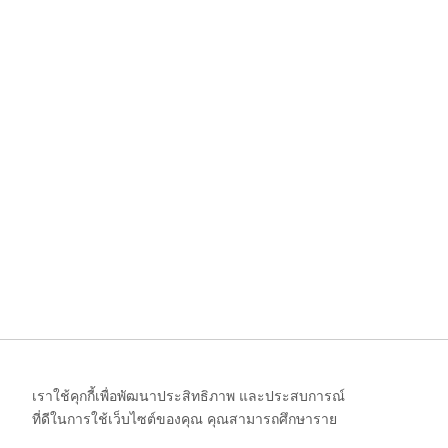เราใช้คุกกี้เพื่อพัฒนาประสิทธิภาพ และประสบการณ์ที่ดีในการใช้เว็บไซต์ของคุณ คุณสามารถศึกษาราย